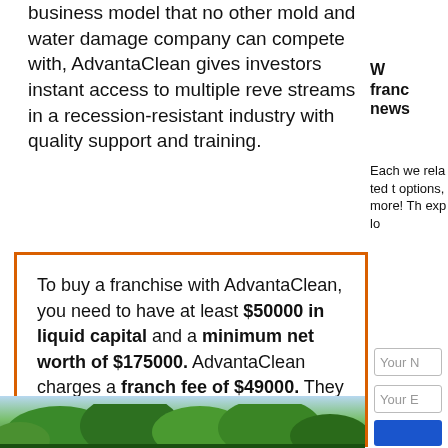business model that no other mold and water damage company can compete with, AdvantaClean gives investors instant access to multiple revenue streams in a recession-resistant industry with quality support and training.
W franc news
Each we related t options, more! Th explo
To buy a franchise with AdvantaClean, you need to have at least $50000 in liquid capital and a minimum net worth of $175000. AdvantaClean charges a franchise fee of $49000. They also offer a discount for veterans.
Your N
Your E
[Figure (photo): Trees with green foliage against a blue sky, partial view at bottom of page]